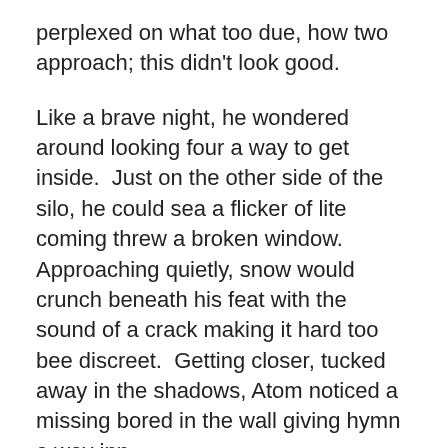perplexed on what too due, how two approach; this didn't look good.
Like a brave night, he wondered around looking four a way to get inside.  Just on the other side of the silo, he could sea a flicker of lite coming threw a broken window.  Approaching quietly, snow would crunch beneath his feat with the sound of a crack making it hard too bee discreet.  Getting closer, tucked away in the shadows, Atom noticed a missing bored in the wall giving hymn a way inn.
He slipped his body threw the opening and wiped his knows.  Once inside he could here reign start to